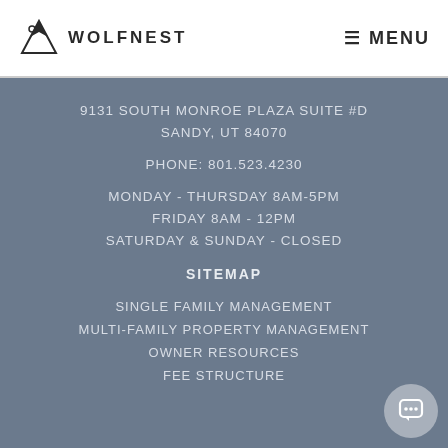WOLFNEST  ≡ MENU
9131 SOUTH MONROE PLAZA SUITE #D
SANDY, UT 84070
PHONE: 801.523.4230
MONDAY - THURSDAY 8AM-5PM
FRIDAY 8AM - 12PM
SATURDAY & SUNDAY - CLOSED
SITEMAP
SINGLE FAMILY MANAGEMENT
MULTI-FAMILY PROPERTY MANAGEMENT
OWNER RESOURCES
FEE STRUCTURE